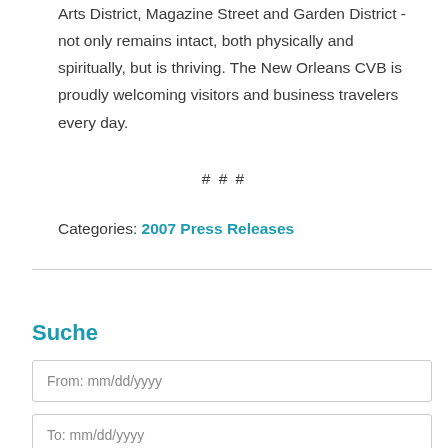Arts District, Magazine Street and Garden District - not only remains intact, both physically and spiritually, but is thriving. The New Orleans CVB is proudly welcoming visitors and business travelers every day.
# # #
Categories: 2007 Press Releases
Suche
From: mm/dd/yyyy
To: mm/dd/yyyy